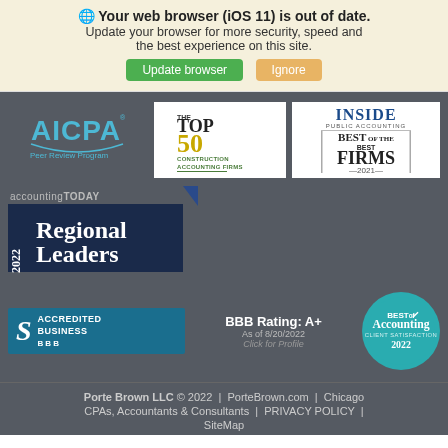Your web browser (iOS 11) is out of date. Update your browser for more security, speed and the best experience on this site.
[Figure (screenshot): AICPA Peer Review Program logo badge]
[Figure (logo): The Top 50 Construction Accounting Firms 2019 badge]
[Figure (logo): Inside Public Accounting Best of the Best Firms 2021 badge]
[Figure (logo): accountingTODAY 2022 Regional Leaders badge]
[Figure (logo): BBB Accredited Business badge with rating A+ as of 8/20/2022]
[Figure (logo): Best of Accounting Client Satisfaction 2022 badge]
Porte Brown LLC © 2022 | PorteBrown.com | Chicago CPAs, Accountants & Consultants | PRIVACY POLICY | SiteMap